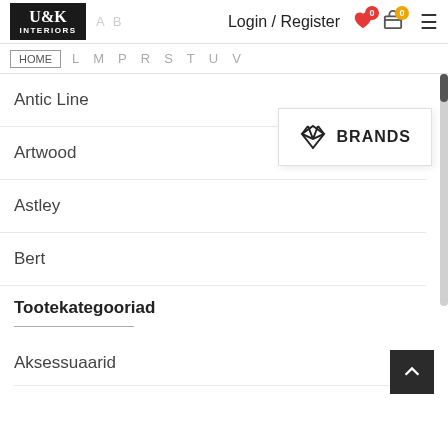U&K INTERIORS — Login / Register
A B (alpha nav) L M P R S T U V
Antic Line
Artwood
[Figure (infographic): BRANDS popup with diamond icon]
Astley
Bert
Tootekategooriad
Aksessuaarid